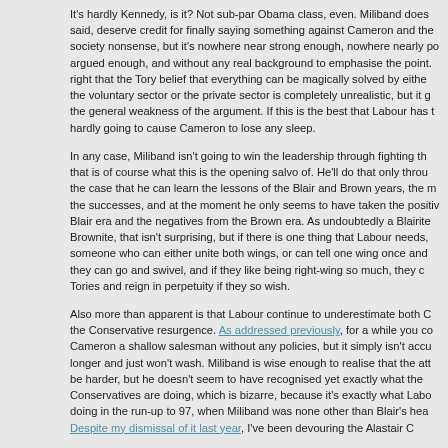It's hardly Kennedy, is it? Not sub-par Obama class, even. Miliband does, said, deserve credit for finally saying something against Cameron and the society nonsense, but it's nowhere near strong enough, nowhere nearly po argued enough, and without any real background to emphasise the point. right that the Tory belief that everything can be magically solved by eithe the voluntary sector or the private sector is completely unrealistic, but it g the general weakness of the argument. If this is the best that Labour has t hardly going to cause Cameron to lose any sleep.
In any case, Miliband isn't going to win the leadership through fighting th that is of course what this is the opening salvo of. He'll do that only throu the case that he can learn the lessons of the Blair and Brown years, the m the successes, and at the moment he only seems to have taken the positiv Blair era and the negatives from the Brown era. As undoubtedly a Blairite Brownite, that isn't surprising, but if there is one thing that Labour needs, someone who can either unite both wings, or can tell one wing once and they can go and swivel, and if they like being right-wing so much, they c Tories and reign in perpetuity if they so wish.
Also more than apparent is that Labour continue to underestimate both C the Conservative resurgence. As addressed previously, for a while you co Cameron a shallow salesman without any policies, but it simply isn't accu longer and just won't wash. Miliband is wise enough to realise that the att be harder, but he doesn't seem to have recognised yet exactly what the Conservatives are doing, which is bizarre, because it's exactly what Labo doing in the run-up to 97, when Miliband was none other than Blair's hea Despite my dismissal of it last year, I've been devouring the Alastair C